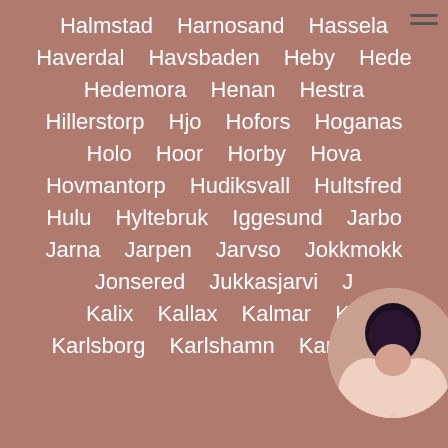Halmstad
Harnosand
Hassela
Haverdal
Havsbaden
Heby
Hede
Hedemora
Henan
Hestra
Hillerstorp
Hjo
Hofors
Hoganas
Holo
Hoor
Horby
Hova
Hovmantorp
Hudiksvall
Hultsfred
Hulu
Hyltebruk
Iggesund
Jarbo
Jarna
Jarpen
Jarvso
Jokkmokk
Jonsered
Jukkasjarvi
J...
Kalix
Kallax
Kalmar
Ka...
Karlsborg
Karlshamn
Karlskoga